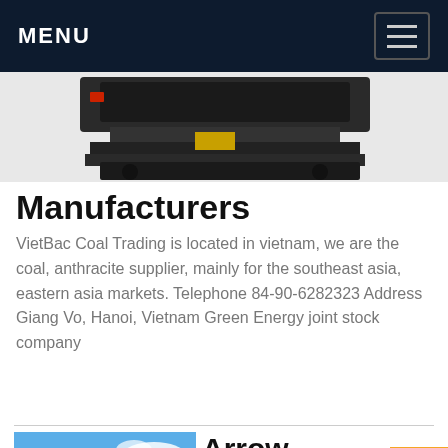MENU
[Figure (photo): Partial view of mining or industrial machine from above, dark colored equipment on light background]
Manufacturers
VietBac Coal Trading is located in vietnam, we are the coal, anthracite supplier, mainly for the southeast asia, eastern asia markets. Telephone 84-90-6282323 Address Giang Vo, Hanoi, Vietnam Green Energy joint stock company
Get Price
[Figure (photo): CCM branded photo showing mining equipment (green machine) at a quarry site with blue sky background]
Arrow Energy
Arrow Energy: